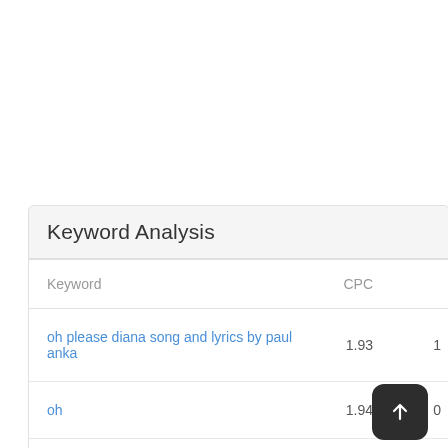Keyword Analysis
| Keyword | CPC |  |
| --- | --- | --- |
| oh please diana song and lyrics by paul anka | 1.93 | 1 |
| oh | 1.94 | 0 |
| please | 1.3 |  |